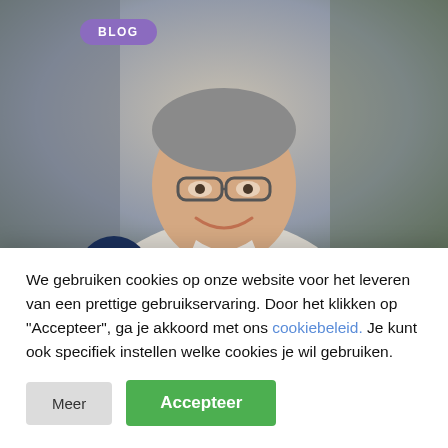[Figure (photo): Photo of a smiling middle-aged man with glasses and grey hair, wearing a light sweater, in an office/indoor setting. A purple 'BLOG' badge is in the top-left corner of the image. A dark navy circular avatar/person icon is overlaid at the bottom-left of the photo.]
Goed informatiemanagement betekent één waarheid die op
We gebruiken cookies op onze website voor het leveren van een prettige gebruikservaring. Door het klikken op "Accepteer", ga je akkoord met ons cookiebeleid. Je kunt ook specifiek instellen welke cookies je wil gebruiken.
Meer
Accepteer